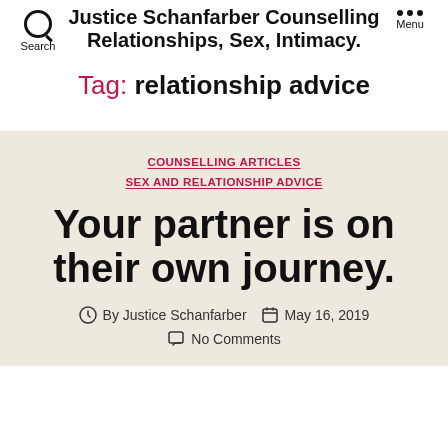Justice Schanfarber Counselling Relationships, Sex, Intimacy.
Tag: relationship advice
COUNSELLING ARTICLES
SEX AND RELATIONSHIP ADVICE
Your partner is on their own journey.
By Justice Schanfarber   May 16, 2019
No Comments